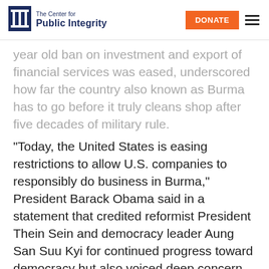The Center for Public Integrity — DONATE
year old ban on investment and export of financial services was eased, underscored how far the country also known as Burma has to go before it truly cleans shop after five decades of military rule.
“Today, the United States is easing restrictions to allow U.S. companies to responsibly do business in Burma,” President Barack Obama said in a statement that credited reformist President Thein Sein and democracy leader Aung San Suu Kyi for continued progress toward democracy but also voiced deep concern over the murky investment environment